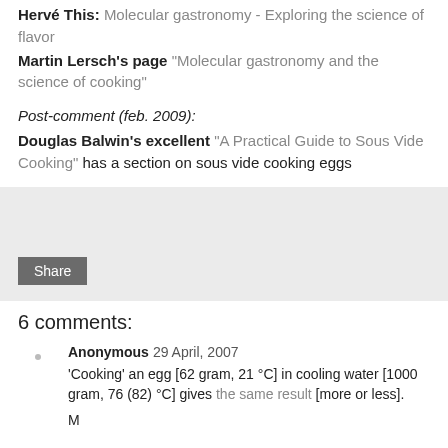Hervé This: Molecular gastronomy - Exploring the science of flavor
Martin Lersch's page "Molecular gastronomy and the science of cooking"
Post-comment (feb. 2009):
Douglas Balwin's excellent "A Practical Guide to Sous Vide Cooking" has a section on sous vide cooking eggs
[Figure (other): Share button widget area with light gray background and a dark gray Share button]
6 comments:
Anonymous  29 April, 2007
'Cooking' an egg [62 gram, 21 °C] in cooling water [1000 gram, 76 (82) °C] gives the same result [more or less].
M